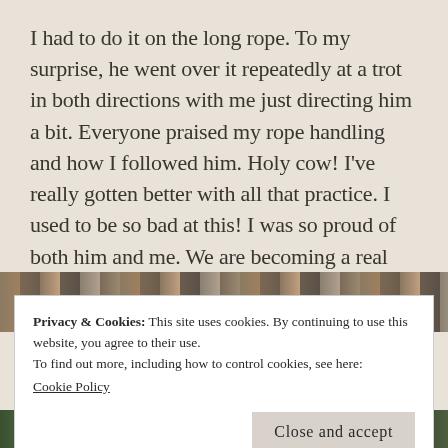I had to do it on the long rope. To my surprise, he went over it repeatedly at a trot in both directions with me just directing him a bit. Everyone praised my rope handling and how I followed him. Holy cow! I've really gotten better with all that practice. I used to be so bad at this! I was so proud of both him and me. We are becoming a real team. Drew really seemed to have fun. What a guy.
[Figure (photo): Partial view of a photo showing what appears to be wooden structures or fence rails, partially obscured by the cookie consent banner]
Privacy & Cookies: This site uses cookies. By continuing to use this website, you agree to their use.
To find out more, including how to control cookies, see here:
Cookie Policy
[Figure (photo): Partial view of a photo at the bottom of the page showing people outdoors with green background]